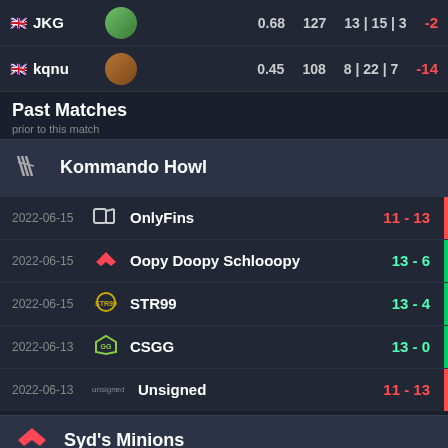| Player |  | KD | ADR | K|D|A | +/- |
| --- | --- | --- | --- | --- | --- |
| 🇬🇧 JKG |  | 0.68 | 127 | 13 | 15 | 3 | -2 |
| 🇬🇧 kqnu |  | 0.45 | 108 | 8 | 22 | 7 | -14 |
Past Matches
prior to this match
Kommando Howl
2022-06-15  OnlyFins  11 - 13
2022-06-15  Oopy Doopy Schlooopy  13 - 6
2022-06-15  STR99  13 - 4
2022-06-13  CSGG  13 - 0
2022-06-13  Unsigned  11 - 13
Syd's Minions
2022-06-15  Unsigned  1 - 13
2022-06-15  SLAKT  13 - 2